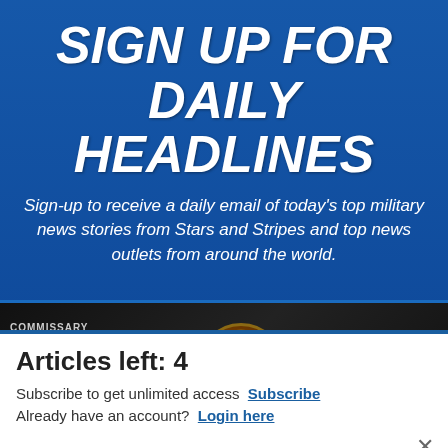SIGN UP FOR DAILY HEADLINES
Sign-up to receive a daily email of today's top military news stories from Stars and Stripes and top news outlets from around the world.
[Figure (screenshot): Commissary Click2Go advertisement banner showing logo with green circle, commissary badge, and partial text 'order groceries | PICKUP']
Articles left: 4
Subscribe to get unlimited access Subscribe
Already have an account? Login here